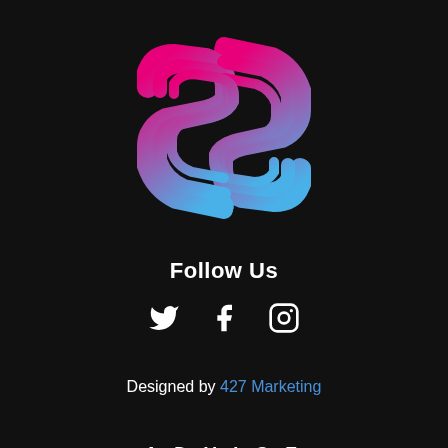[Figure (logo): Stylized hexagonal S-shaped logo with gradient from pink/magenta at top to blue at bottom, with black outlines and layered geometric shapes]
Follow Us
[Figure (illustration): Three social media icons in white: Twitter bird, Facebook f, Instagram camera outline]
Designed by 427 Marketing
ADVICE